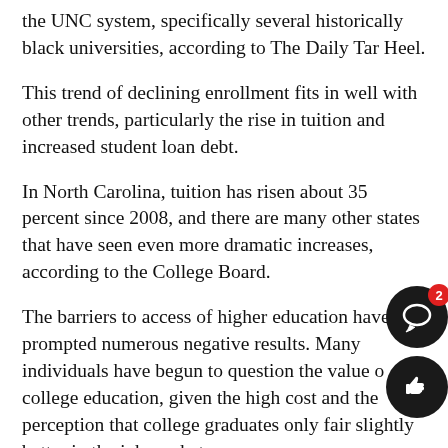the UNC system, specifically several historically black universities, according to The Daily Tar Heel.
This trend of declining enrollment fits in well with other trends, particularly the rise in tuition and increased student loan debt.
In North Carolina, tuition has risen about 35 percent since 2008, and there are many other states that have seen even more dramatic increases, according to the College Board.
The barriers to access of higher education have prompted numerous negative results. Many individuals have begun to question the value of college education, given the high cost and the perception that college graduates only fair slightly better in the job market.